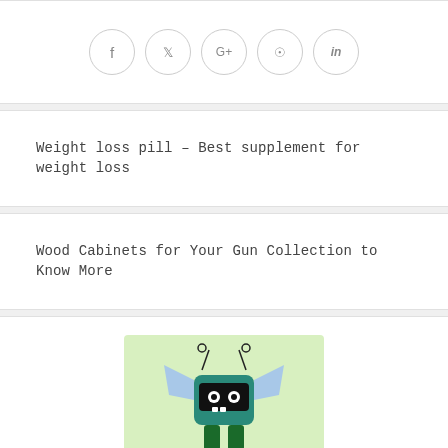[Figure (other): Social media share buttons: Facebook (f), Twitter (bird), Google+ (G+), Pinterest (pin), LinkedIn (in) — circular outlined icons arranged horizontally]
Weight loss pill – Best supplement for weight loss
Wood Cabinets for Your Gun Collection to Know More
[Figure (illustration): Cartoon alien/robot character with antennae, teal body, blue wing-like arms, black face with white eyes, and green legs standing on a light green background]